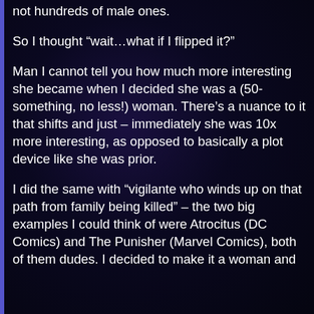not hundreds of male ones.
So I thought “wait…what if I flipped it?”
Man I cannot tell you how much more interesting she became when I decided she was a (50-something, no less!) woman. There’s a nuance to it that shifts and just – immediately she was 10x more interesting, as opposed to basically a plot device like she was prior.
I did the same with “vigilante who winds up on that path from family being killed” – the two big examples I could think of were Atrocitus (DC Comics) and The Punisher (Marvel Comics), both of them dudes. I decided to make it a woman and